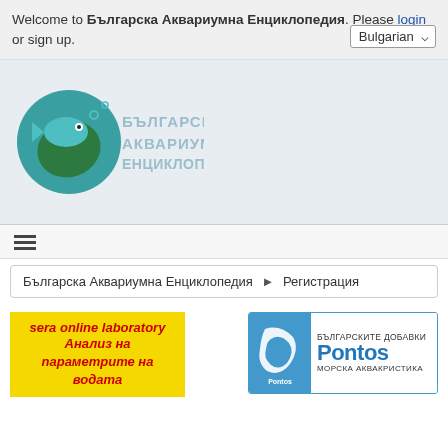Welcome to Българска Аквариумна Енциклопедия. Please login or sign up.
[Figure (logo): Българска Аквариумна Енциклопедия logo with teal fish/leaf circular icon and Cyrillic text]
≡ (hamburger menu)
Българска Аквариумна Енциклопедия ► Регистрация
[Figure (illustration): Sera online laboratory ad - yellow background with red italic text: sera online laboratory, Анализ на параметрите на водата]
[Figure (logo): Pontos ad - Българските добавки Pontos Морска аквакристика]